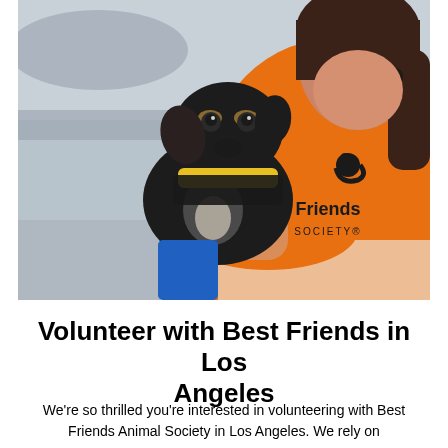[Figure (photo): A woman wearing an orange Best Friends Animal Society t-shirt holds a small black dog with a yellow collar/bandana. The photo is taken outdoors with a parking lot background.]
Volunteer with Best Friends in Los Angeles
We're so thrilled you're interested in volunteering with Best Friends Animal Society in Los Angeles. We rely on